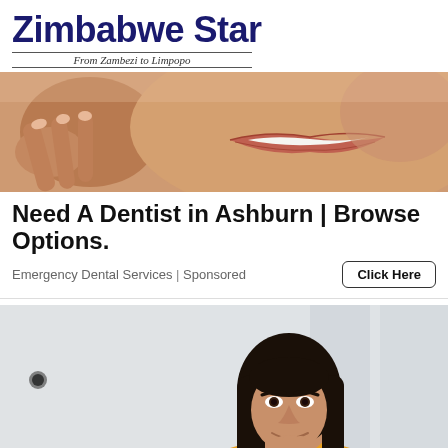Zimbabwe Star
From Zambezi to Limpopo
[Figure (photo): Close-up photo of a person smiling, showing teeth, fingers near mouth, dental advertisement image]
Need A Dentist in Ashburn | Browse Options.
Emergency Dental Services | Sponsored
Click Here
[Figure (photo): Young woman with long dark hair wearing a yellow top, sitting at a desk looking at a laptop computer, smiling]